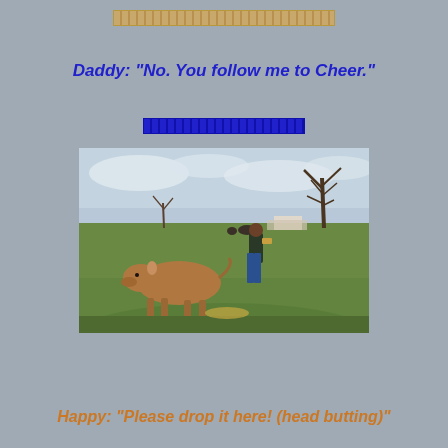Daddy: "No. You follow me to Cheer."
[Figure (photo): A man standing in a green grassy field with a brown cow/calf walking toward him. Bare trees visible in the background under a cloudy sky. Other cattle visible in the distance.]
Happy: "Please drop it here! (head butting)"